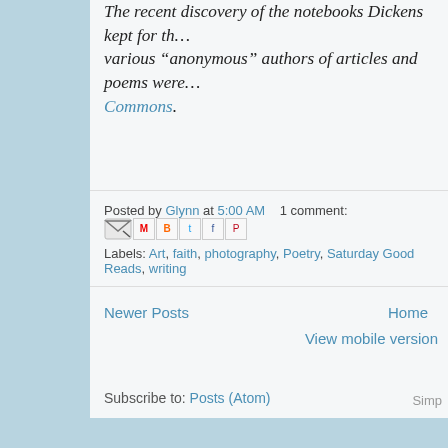The recent discovery of the notebooks Dickens kept for th… various “anonymous” authors of articles and poems were… Commons.
Posted by Glynn at 5:00 AM   1 comment:
Labels: Art, faith, photography, Poetry, Saturday Good Reads, writing
Newer Posts   Home   View mobile version
Subscribe to: Posts (Atom)
Simp